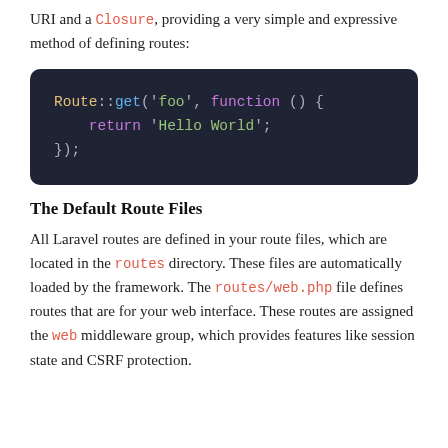URI and a Closure, providing a very simple and expressive method of defining routes:
[Figure (screenshot): Code block with dark background showing PHP code: Route::get('foo', function () { return 'Hello World'; });]
The Default Route Files
All Laravel routes are defined in your route files, which are located in the routes directory. These files are automatically loaded by the framework. The routes/web.php file defines routes that are for your web interface. These routes are assigned the web middleware group, which provides features like session state and CSRF protection.